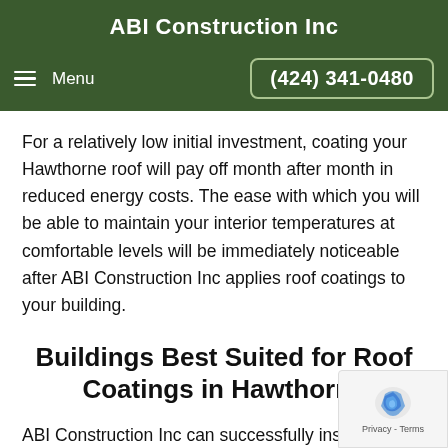ABI Construction Inc
Menu   (424) 341-0480
For a relatively low initial investment, coating your Hawthorne roof will pay off month after month in reduced energy costs. The ease with which you will be able to maintain your interior temperatures at comfortable levels will be immediately noticeable after ABI Construction Inc applies roof coatings to your building.
Buildings Best Suited for Roof Coatings in Hawthorne
ABI Construction Inc can successfully install a roof in Hawthorne using any roof coating material in the today. We are your top choice to install your rubber roof,